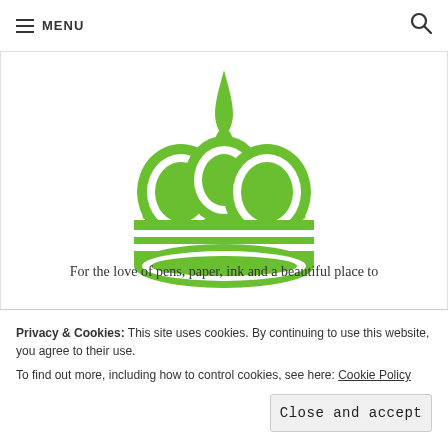≡ MENU 🔍
[Figure (logo): Green crown logo with pen nib on top, stylized chess king crown shape in bright green color]
For the love of pens, paper, ink and a beautiful place to
Privacy & Cookies: This site uses cookies. By continuing to use this website, you agree to their use. To find out more, including how to control cookies, see here: Cookie Policy
Close and accept